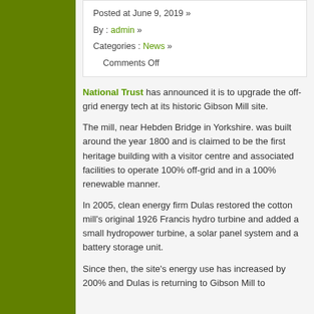Posted at June 9, 2019 »
By : admin »
Categories : News »
Comments Off
National Trust has announced it is to upgrade the off-grid energy tech at its historic Gibson Mill site.
The mill, near Hebden Bridge in Yorkshire. was built around the year 1800 and is claimed to be the first heritage building with a visitor centre and associated facilities to operate 100% off-grid and in a 100% renewable manner.
In 2005, clean energy firm Dulas restored the cotton mill's original 1926 Francis hydro turbine and added a small hydropower turbine, a solar panel system and a battery storage unit.
Since then, the site's energy use has increased by 200% and Dulas is returning to Gibson Mill to